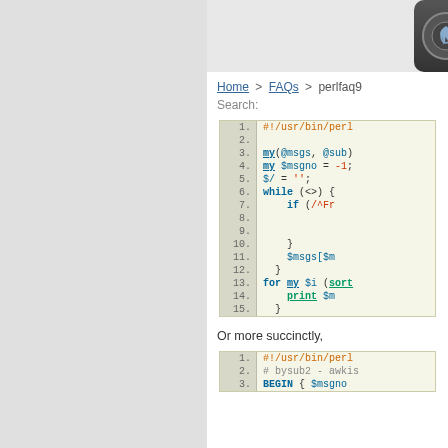perlfaq9 — Perl 5 version 12.3 documentation
Home > FAQs > perlfaq9
Search:
[Figure (screenshot): Syntax-highlighted Perl code block with line numbers 1-15 showing: #!/usr/bin/perl, my(@msgs, @sub), my $msgno = -1;, $/ = '';, while (<>) {, if (/^Fr, }, $msgs[$m, }, for my $i (sort, print $m, }]
Or more succinctly,
[Figure (screenshot): Second syntax-highlighted Perl code block with line numbers 1-3 showing: #!/usr/bin/perl, # bysub2 - awkis, BEGIN { $msgno]